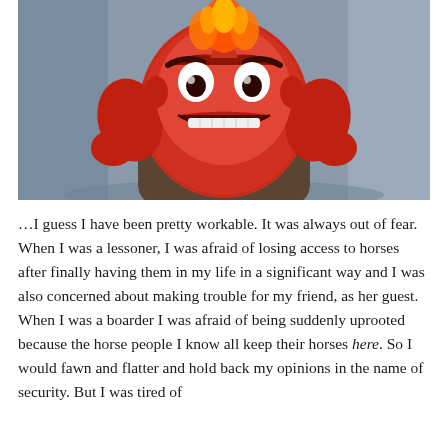[Figure (photo): Screenshot of Anger character from Pixar's Inside Out — a red, blocky, furry humanoid figure with furrowed brows, clenched teeth, wearing a white dress shirt and dark suit, with flames on top of its head, fists raised, looking very angry. Blue-grey office background.]
…I guess I have been pretty workable. It was always out of fear. When I was a lessoner, I was afraid of losing access to horses after finally having them in my life in a significant way and I was also concerned about making trouble for my friend, as her guest. When I was a boarder I was afraid of being suddenly uprooted because the horse people I know all keep their horses here. So I would fawn and flatter and hold back my opinions in the name of security. But I was tired of